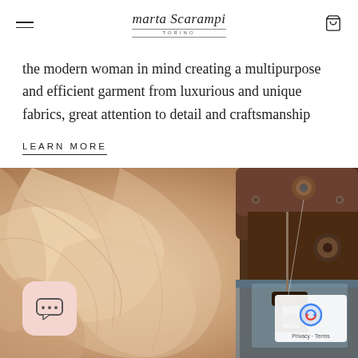marta Scarampi TORINO
the modern woman in mind creating a multipurpose and efficient garment from luxurious and unique fabrics, great attention to detail and craftsmanship
LEARN MORE
[Figure (photo): Close-up photo of cream/beige silk fabric being sewn on a sewing machine, showing the presser foot and needle of the machine on the right and draped fabric folds on the left]